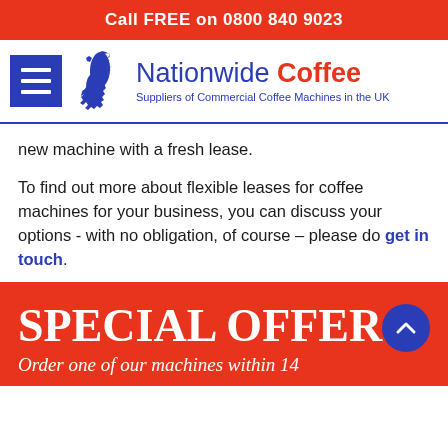Call FREE on 0800 840 9023
[Figure (logo): Nationwide Coffee logo with hamburger menu icon, UK map silhouette, brand name 'Nationwide Coffee' and tagline 'Suppliers of Commercial Coffee Machines in the UK']
new machine with a fresh lease.
To find out more about flexible leases for coffee machines for your business, you can discuss your options - with no obligation, of course – please do get in touch.
SPECIAL OFFER
Order one of our machines within 14